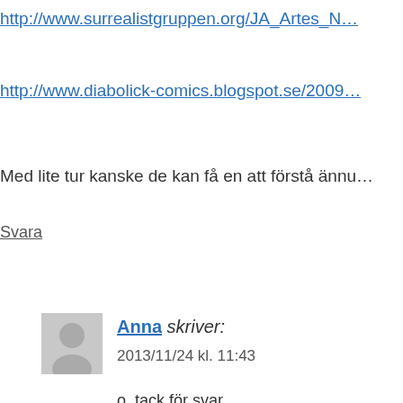http://www.surrealistgruppen.org/JA_Artes_N…
http://www.diabolick-comics.blogspot.se/2009…
Med lite tur kanske de kan få en att förstå ännu…
Svara
Anna skriver:
2013/11/24 kl. 11:43
o, tack för svar.
ni (surr.) tenderar att beskriva surreali…
försökt läsa surr-manifestet och forsha…
ordalag som i länkarna. som jag minn…
och det är lite som du säger: ju mer m…
en annan sak, vad gäller att se bilder.
mycket i dem, framför allt surr-konst,
på någs dröm, man vill liksom tolka…